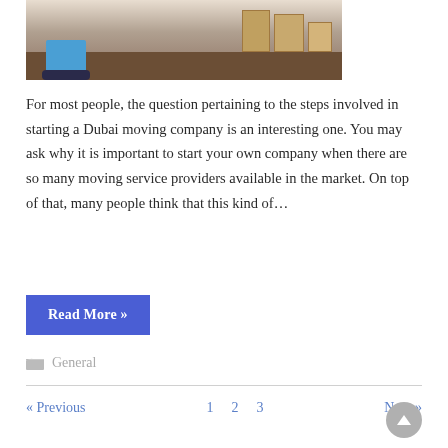[Figure (photo): Photo showing a person standing in a room with cardboard moving boxes stacked in the background, wooden floor visible]
For most people, the question pertaining to the steps involved in starting a Dubai moving company is an interesting one. You may ask why it is important to start your own company when there are so many moving service providers available in the market. On top of that, many people think that this kind of…
Read More »
General
« Previous  1  2  3  Next »